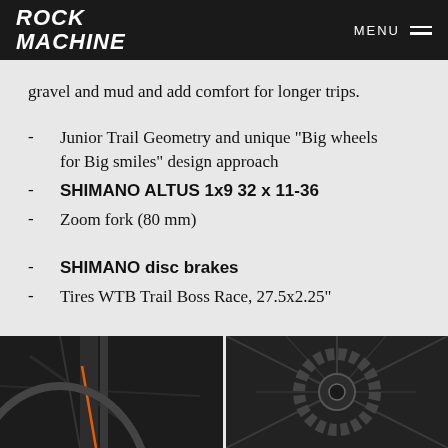ROCK MACHINE | MENU
gravel and mud and add comfort for longer trips.
Junior Trail Geometry and unique "Big wheels for Big smiles" design approach
SHIMANO ALTUS 1x9 32 x 11-36
Zoom fork (80 mm)
SHIMANO disc brakes
Tires WTB Trail Boss Race, 27.5x2.25"
[Figure (photo): Close-up of bike wheel/fork detail, dark background with orange accents]
[Figure (photo): Close-up of bike wheel hub/disc brake detail, dark background]